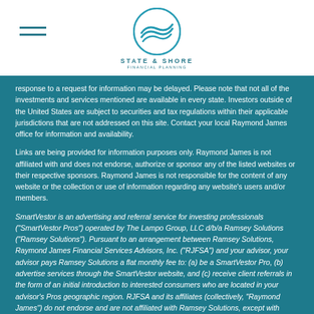[Figure (logo): State & Shore Financial Planning logo with teal wave circle icon and text STATE & SHORE with subtitle FINANCIAL PLANNING]
response to a request for information may be delayed. Please note that not all of the investments and services mentioned are available in every state. Investors outside of the United States are subject to securities and tax regulations within their applicable jurisdictions that are not addressed on this site. Contact your local Raymond James office for information and availability.
Links are being provided for information purposes only. Raymond James is not affiliated with and does not endorse, authorize or sponsor any of the listed websites or their respective sponsors. Raymond James is not responsible for the content of any website or the collection or use of information regarding any website's users and/or members.
SmartVestor is an advertising and referral service for investing professionals ("SmartVestor Pros") operated by The Lampo Group, LLC d/b/a Ramsey Solutions ("Ramsey Solutions"). Pursuant to an arrangement between Ramsey Solutions, Raymond James Financial Services Advisors, Inc. ("RJFSA") and your advisor, your advisor pays Ramsey Solutions a flat monthly fee to: (a) be a SmartVestor Pro, (b) advertise services through the SmartVestor website, and (c) receive client referrals in the form of an initial introduction to interested consumers who are located in your advisor's Pros geographic region. RJFSA and its affiliates (collectively, "Raymond James") do not endorse and are not affiliated with Ramsey Solutions, except with respect to the arrangement described above, and neither Ramsey Solutions nor its agents are officers or employees of Raymond James. Further, neither Ramsey Solutions nor its agents are authorized to provide investment advice or act in any way